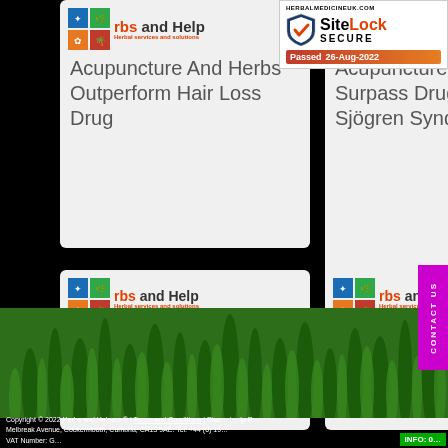[Figure (screenshot): Herbs and Helpers website screenshot showing article cards for herbal medicine topics including acupuncture, hair loss, Sjögren Syndrome, and pediatric insomnia, with SiteLock security badge and contact button]
Acupuncture And Herbs Outperform Hair Loss Drug
Acupuncture And Herbs Surpass Drug For Sjögren Syndrome Relief
Acupuncture Plus Herbs Alleviate Pediatric Insomnia
HERBALMEDICINEUK.COM
SiteLock SECURE Passed 26-Aug-2022
CONTACT US
Copyright © 2022 Herbs and Helpers ® | Terms and Conditions | Disc... | Help Melbreak Avenue, Cockermouth, Cumbria, CA13 9AE. Tel: +44 (0) 19... VAT Number: G... INFO: 0...